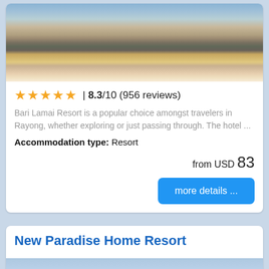[Figure (photo): Hotel room interior photo showing a bed with white pillows, a wooden floor, a dark rug, and white slippers on the floor near the bed.]
★★★★★ | 8.3/10 (956 reviews)
Bari Lamai Resort is a popular choice amongst travelers in Rayong, whether exploring or just passing through. The hotel ...
Accommodation type: Resort
from USD 83
more details ...
New Paradise Home Resort
[Figure (photo): Outdoor photo of a resort with trees and sky in the background.]